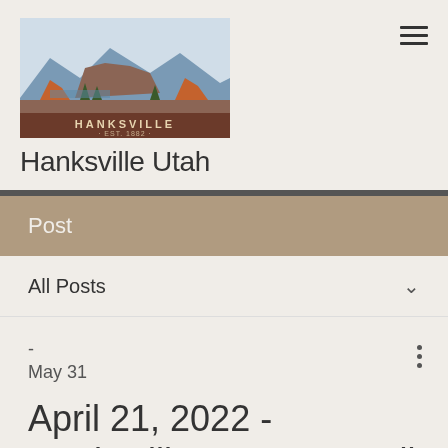[Figure (logo): Hanksville Utah town logo with mountains and landscape, EST. 1882]
Hanksville Utah
Post
All Posts
-
May 31
April 21, 2022 - Hanksville Town Council
The Hanksville Town Council meeting